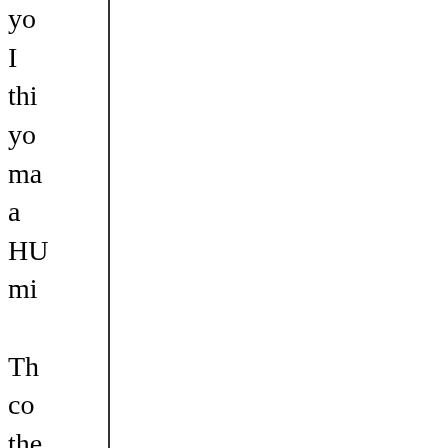yo
I
thi
yo
ma
a
HU
mi

Th
co
the
fro
the
an
na
ch
is
I
ha